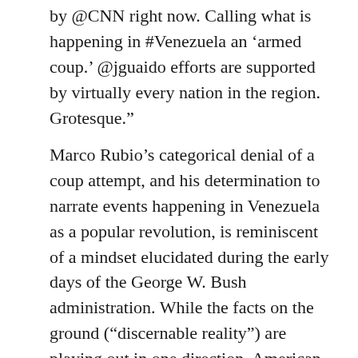by @CNN right now. Calling what is happening in #Venezuela an ‘armed coup.’ @jguaido efforts are supported by virtually every nation in the region. Grotesque.”
Marco Rubio’s categorical denial of a coup attempt, and his determination to narrate events happening in Venezuela as a popular revolution, is reminiscent of a mindset elucidated during the early days of the George W. Bush administration. While the facts on the ground (“discernable reality”) are playing out in one direction, American policymakers do not have to respond to what may or may not be true. “That's not the way the world really works anymore,” an